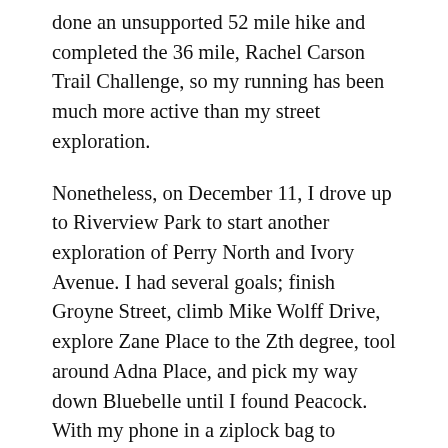done an unsupported 52 mile hike and completed the 36 mile, Rachel Carson Trail Challenge, so my running has been much more active than my street exploration.
Nonetheless, on December 11, I drove up to Riverview Park to start another exploration of Perry North and Ivory Avenue. I had several goals; finish Groyne Street, climb Mike Wolff Drive, explore Zane Place to the Zth degree, tool around Adna Place, and pick my way down Bluebelle until I found Peacock. With my phone in a ziplock bag to protect from the rain and mist, the pics all came out blurry.
Groyne was just a little drive between two